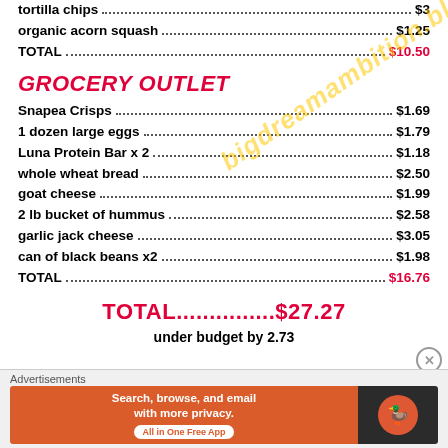tortilla chips ... $3
organic acorn squash ... $1.25
TOTAL ... $10.50
GROCERY OUTLET
Snapea Crisps ... $1.69
1 dozen large eggs ... $1.79
Luna Protein Bar x 2 ... $1.18
whole wheat bread ... $2.50
goat cheese ... $1.99
2 lb bucket of hummus ... $2.58
garlic jack cheese ... $3.05
can of black beans x2 ... $1.98
TOTAL ... $16.76
TOTAL...............$27.27
under budget by 2.73